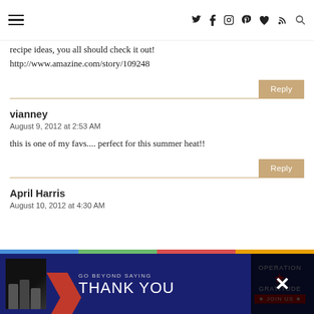Navigation menu and social icons
recipe ideas, you all should check it out! http://www.amazine.com/story/109248
Reply
vianney
August 9, 2012 at 2:53 AM
this is one of my favs.... perfect for this summer heat!!
Reply
April Harris
August 10, 2012 at 4:30 AM
[Figure (infographic): Advertisement banner: GO BEYOND SAYING THANK YOU - Operation Gratitude JOIN US]